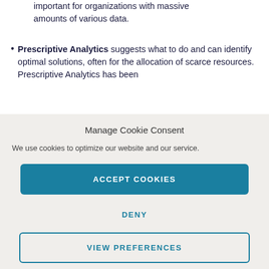important for organizations with massive amounts of various data.
Prescriptive Analytics suggests what to do and can identify optimal solutions, often for the allocation of scarce resources. Prescriptive Analytics has been researched at CERN for a long time but is
Manage Cookie Consent
We use cookies to optimize our website and our service.
ACCEPT COOKIES
DENY
VIEW PREFERENCES